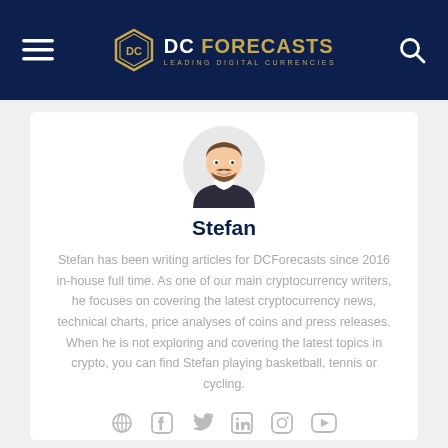DC FORECASTS — LEADING DIGITAL CURRENCIES
[Figure (illustration): Illustrated portrait avatar of Stefan — a bearded man in dark jacket]
Stefan
Stefan has been writing articles for DCForecasts since 2016 in-house full time. As one of our main cryptocurrency writers, he focuses on covering the latest cryptocurrency news, technical charts, price analyses of coins and press releases. When he is not exploring and covering the latest topics in crypto, you can find Stefan playing basketball, tennis or cycling.
[Figure (other): Social media icons: globe/location, Facebook, Twitter, LinkedIn, Instagram, YouTube]